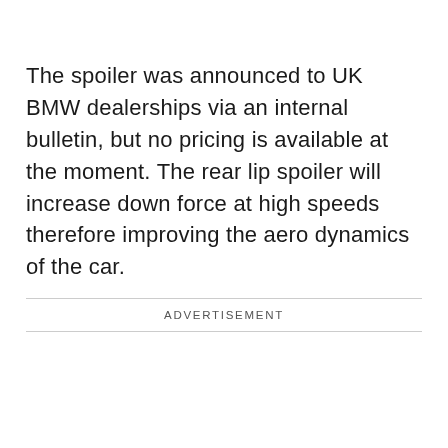The spoiler was announced to UK BMW dealerships via an internal bulletin, but no pricing is available at the moment. The rear lip spoiler will increase down force at high speeds therefore improving the aero dynamics of the car.
ADVERTISEMENT